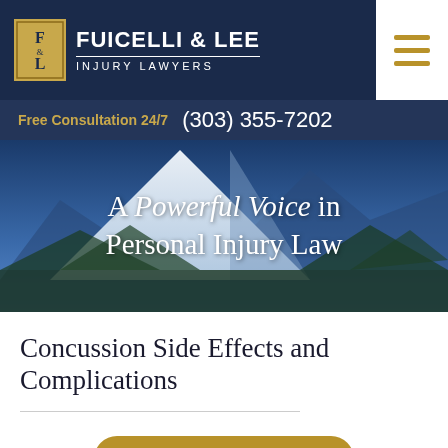[Figure (logo): Fuicelli & Lee Injury Lawyers logo with gold F&L badge and white text on dark navy background, hamburger menu icon top right]
Free Consultation 24/7  (303) 355-7202
[Figure (photo): Mountain landscape with snow-capped peaks and blue sky as hero background image]
A Powerful Voice in Personal Injury Law
Concussion Side Effects and Complications
Request Free Consultation